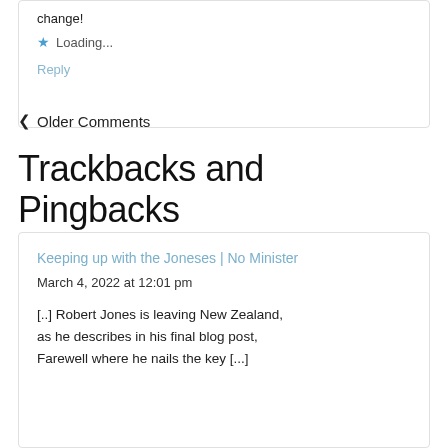change!
★ Loading...
Reply
‹ Older Comments
Trackbacks and Pingbacks
Keeping up with the Joneses | No Minister
March 4, 2022 at 12:01 pm
[..] Robert Jones is leaving New Zealand, as he describes in his final blog post, Farewell where he nails the key [...]